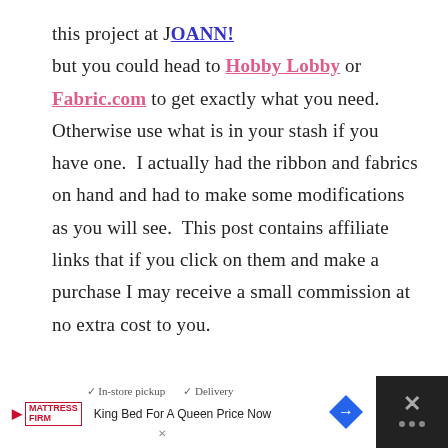this project at JOANN! but you could head to Hobby Lobby or Fabric.com to get exactly what you need. Otherwise use what is in your stash if you have one. I actually had the ribbon and fabrics on hand and had to make some modifications as you will see. This post contains affiliate links that if you click on them and make a purchase I may receive a small commission at no extra cost to you.
[Figure (screenshot): Advertisement bar at the bottom showing Mattress Firm ad with 'In-store pickup' and 'Delivery' options, a blue diamond navigation icon, and a close button with X symbol]